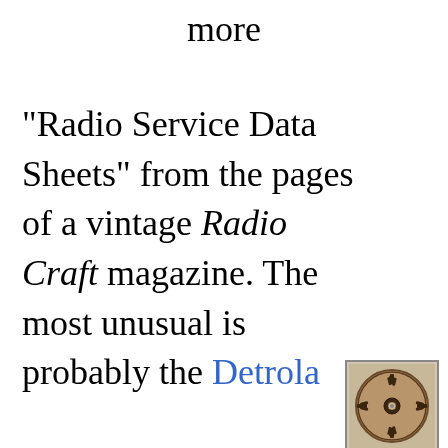more
"Radio Service Data Sheets" from the pages of a vintage Radio Craft magazine. The most unusual is probably the Detrola
[Figure (photo): A round vintage Detrola radio with a circular Zia sun symbol design on its face, shown in a small framed thumbnail image]